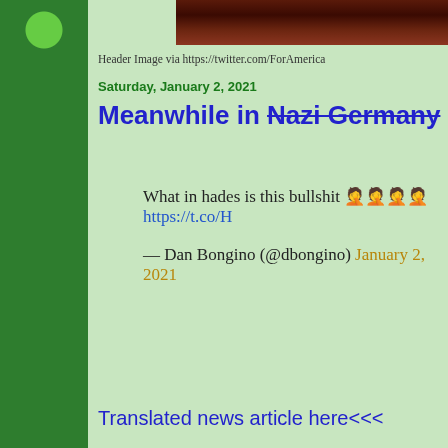[Figure (photo): Left sidebar with green bubble/circle pattern decoration]
[Figure (photo): Top dark reddish-brown header image bar]
Header Image via https://twitter.com/ForAmerica
Saturday, January 2, 2021
Meanwhile in Nazi-Germany Canada
What in hades is this bullshit 🤦🤦🤦🤦 https://t.co/H…
— Dan Bongino (@dbongino) January 2, 2021
Translated news article here<<<